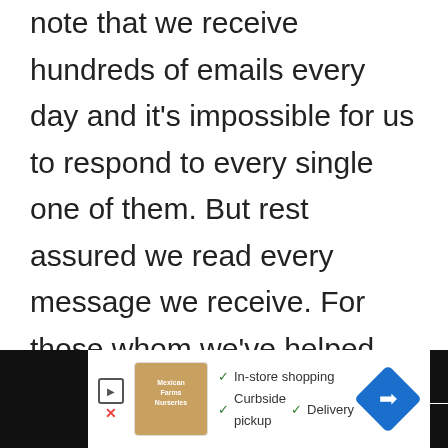note that we receive hundreds of emails every day and it's impossible for us to respond to every single one of them. But rest assured we read every message we receive. For those whom we've helped, please spread the word by sharing our posts to your friends or by simply liking our Facebook and Google+ page or follow us on Twitter.
[Figure (other): Advertisement banner with store shopping options: In-store shopping, Curbside pickup, Delivery, with a navigation arrow icon and media player icon on dark background strips.]